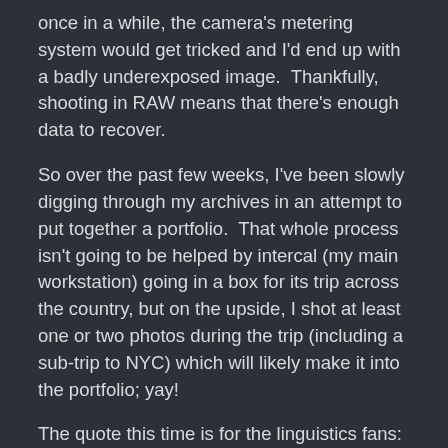once in a while, the camera's metering system would get tricked and I'd end up with a badly underexposed image.  Thankfully, shooting in RAW means that there's enough data to recover.
So over the past few weeks, I've been slowly digging through my archives in an attempt to put together a portfolio.  That whole process isn't going to be helped by intercal (my main workstation) going in a box for its trip across the country, but on the upside, I shot at least one or two photos during the trip (including a sub-trip to NYC) which will likely make it into the portfolio; yay!
The quote this time is for the linguistics fans:
<@spectie> the pronunciation is "eff-why-are-oh-emm"
<@Lycus> spectie: use IPA or X-SAMPA, fascist